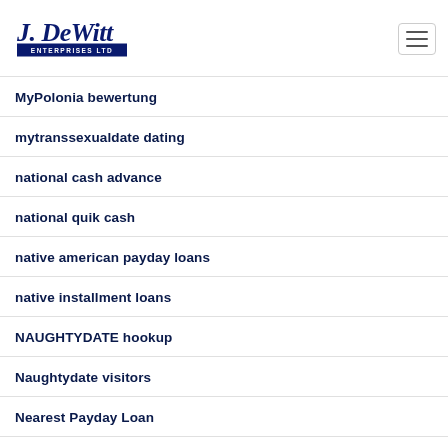[Figure (logo): J. DeWitt Enterprises Ltd logo in dark navy blue script and block letters]
MyPolonia bewertung
mytranssexualdate dating
national cash advance
national quik cash
native american payday loans
native installment loans
NAUGHTYDATE hookup
Naughtydate visitors
Nearest Payday Loan